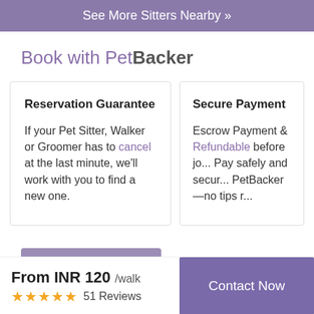See More Sitters Nearby »
Book with PetBacker
Reservation Guarantee
If your Pet Sitter, Walker or Groomer has to cancel at the last minute, we'll work with you to find a new one.
Secure Payment
Escrow Payment & Refundable before jo... Pay safely and secur... PetBacker—no tips r...
Make a Request
From INR 120 /walk
51 Reviews
Contact Now